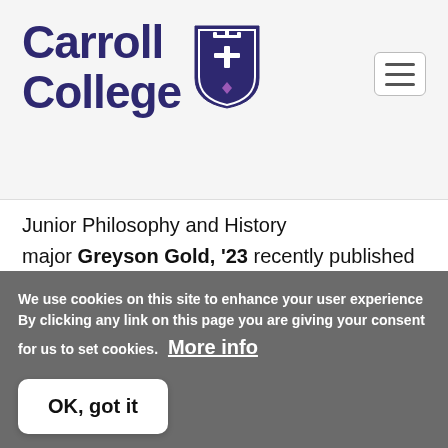[Figure (logo): Carroll College logo with shield and text 'Carroll College' in dark purple]
Junior Philosophy and History major Greyson Gold, '23 recently published an essay entitled "The Wisdom of Wizards: The Cognitive Value of Fantasy Literature," in the 2022 volume of Stance. Stance is an undergraduate philosophy journal that solicits
We use cookies on this site to enhance your user experience By clicking any link on this page you are giving your consent for us to set cookies. More info
OK, got it